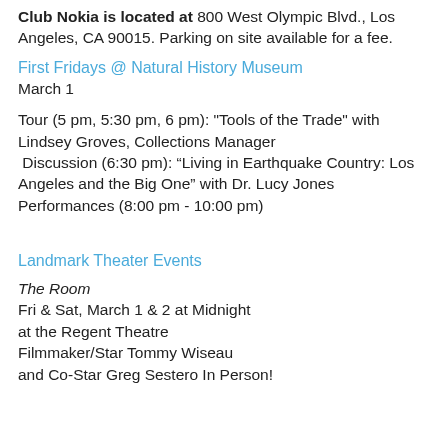Club Nokia is located at 800 West Olympic Blvd., Los Angeles, CA 90015. Parking on site available for a fee.
First Fridays @ Natural History Museum
March 1
Tour (5 pm, 5:30 pm, 6 pm): "Tools of the Trade" with Lindsey Groves, Collections Manager
 Discussion (6:30 pm): “Living in Earthquake Country: Los Angeles and the Big One” with Dr. Lucy Jones
Performances (8:00 pm - 10:00 pm)
Landmark Theater Events
The Room
Fri & Sat, March 1 & 2 at Midnight
at the Regent Theatre
Filmmaker/Star Tommy Wiseau
and Co-Star Greg Sestero In Person!